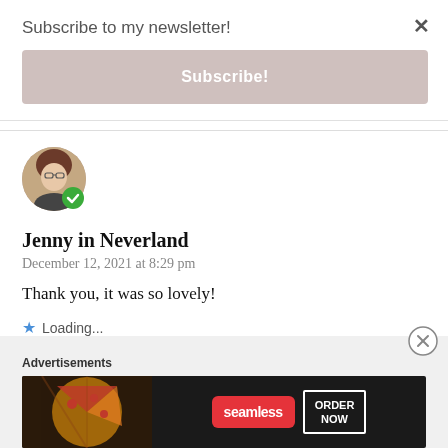Subscribe to my newsletter!
Subscribe!
[Figure (photo): Circular avatar photo of a woman with glasses and brown hair, with a green checkmark badge]
Jenny in Neverland
December 12, 2021 at 8:29 pm
Thank you, it was so lovely!
Loading...
REPLY
Advertisements
[Figure (illustration): Seamless food delivery advertisement banner with pizza image, red Seamless logo, and ORDER NOW button]